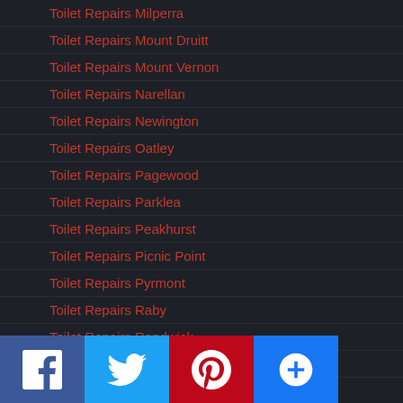Toilet Repairs Milperra
Toilet Repairs Mount Druitt
Toilet Repairs Mount Vernon
Toilet Repairs Narellan
Toilet Repairs Newington
Toilet Repairs Oatley
Toilet Repairs Pagewood
Toilet Repairs Parklea
Toilet Repairs Peakhurst
Toilet Repairs Picnic Point
Toilet Repairs Pyrmont
Toilet Repairs Raby
Toilet Repairs Randwick
Toilet Repairs Regents Park
Toilet Repairs Revesby
Toilet Repairs Rooty Hill
Toilet Repairs Roselands
Toilet Repairs Sadleir
Toilet Repairs Sackville